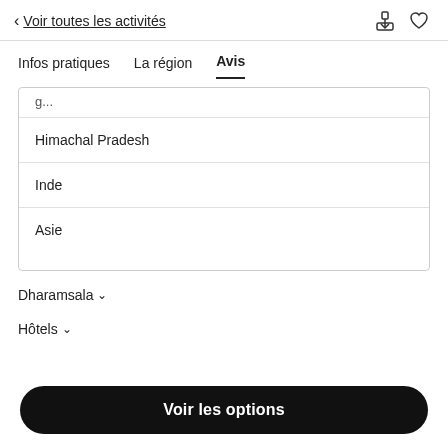< Voir toutes les activités
Infos pratiques   La région   Avis
Himachal Pradesh
Inde
Asie
Dharamsala ∨
Hôtels ∨
Voir les options